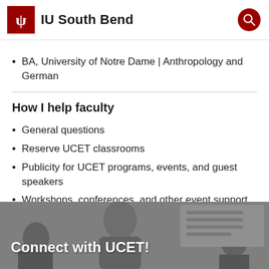IU South Bend
BA, University of Notre Dame | Anthropology and German
How I help faculty
General questions
Reserve UCET classrooms
Publicity for UCET programs, events, and guest speakers
Workshops, conferences, and other event support
[Figure (photo): Black and white photo of people in a meeting or classroom setting, with text overlay reading 'Connect with UCET!']